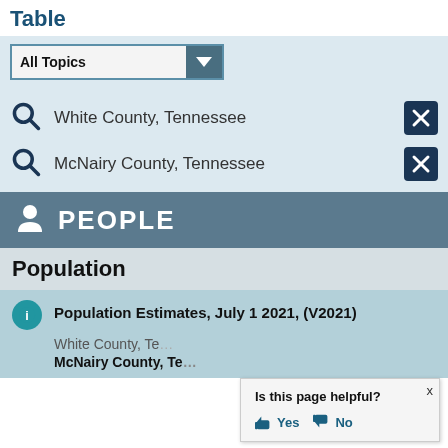Table
All Topics (dropdown)
White County, Tennessee
McNairy County, Tennessee
PEOPLE
Population
Population Estimates, July 1 2021, (V2021)
White County, Te...
McNairy County, Te...
Is this page helpful? Yes No